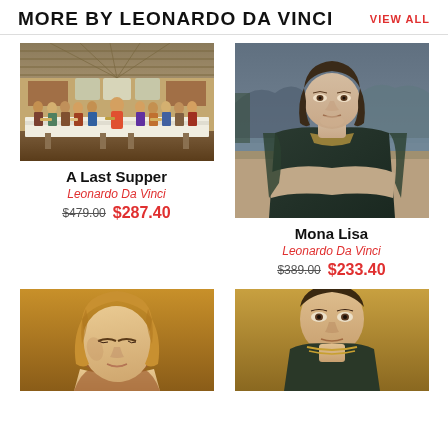MORE BY LEONARDO DA VINCI  VIEW ALL
[Figure (photo): Painting of The Last Supper by Leonardo Da Vinci - wide landscape format showing Jesus and 12 apostles at a long table]
A Last Supper
Leonardo Da Vinci
$479.00  $287.40
[Figure (photo): Mona Lisa painting by Leonardo Da Vinci - portrait of woman with enigmatic smile, landscape background]
Mona Lisa
Leonardo Da Vinci
$389.00  $233.40
[Figure (photo): Painting of a woman's head tilted downward with golden hair, warm ochre tones]
[Figure (photo): Partial view of another Da Vinci painting - portrait on golden background, bottom of page]